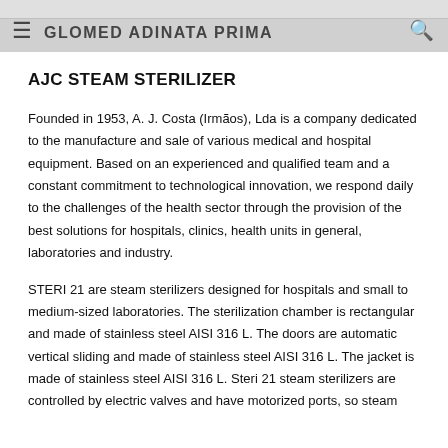GLOMED ADINATA PRIMA
AJC STEAM STERILIZER
Founded in 1953, A. J. Costa (Irmãos), Lda is a company dedicated to the manufacture and sale of various medical and hospital equipment. Based on an experienced and qualified team and a constant commitment to technological innovation, we respond daily to the challenges of the health sector through the provision of the best solutions for hospitals, clinics, health units in general, laboratories and industry.
STERI 21 are steam sterilizers designed for hospitals and small to medium-sized laboratories. The sterilization chamber is rectangular and made of stainless steel AISI 316 L. The doors are automatic vertical sliding and made of stainless steel AISI 316 L. The jacket is made of stainless steel AISI 316 L. Steri 21 steam sterilizers are controlled by electric valves and have motorized ports, so steam